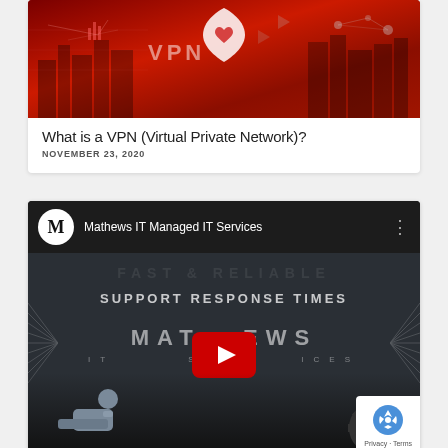[Figure (screenshot): VPN-themed blog post thumbnail with red city background and heart/shield icon overlay]
What is a VPN (Virtual Private Network)?
NOVEMBER 23, 2020
[Figure (screenshot): YouTube embed for Mathews IT Managed IT Services showing a video about Support Response Times with play button, channel logo, and video controls]